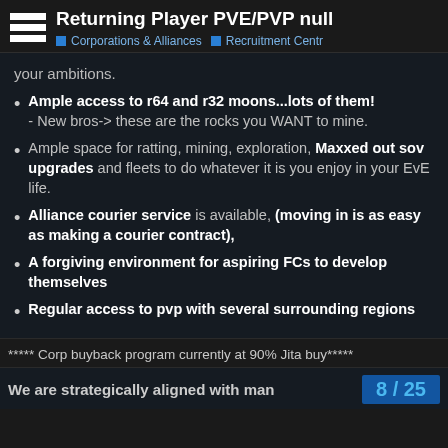Returning Player PVE/PVP null
Corporations & Alliances   Recruitment Centre
your ambitions.
Ample access to r64 and r32 moons...lots of them! - New bros-> these are the rocks you WANT to mine.
Ample space for ratting, mining, exploration, Maxxed out sov upgrades and fleets to do whatever it is you enjoy in your EvE life.
Alliance courier service is available, (moving in is as easy as making a courier contract),
A forgiving environment for aspiring FCs to develop themselves
Regular access to pvp with several surrounding regions
***** Corp buyback program currently at 90% Jita buy*****
8 / 25
We are strategically aligned with man